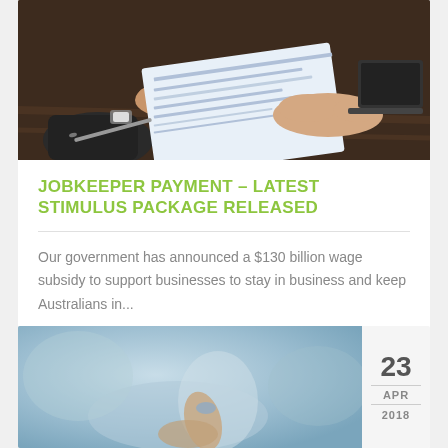[Figure (photo): Two people exchanging a cheque over a wooden desk, one person wearing a watch and dark clothing, pen visible on the desk, laptop in background]
JOBKEEPER PAYMENT – LATEST STIMULUS PACKAGE RELEASED
Our government has announced a $130 billion wage subsidy to support businesses to stay in business and keep Australians in...
[Figure (photo): Close-up of a hand pressing a button or touchpad, blurred blue background]
23 APR 2018